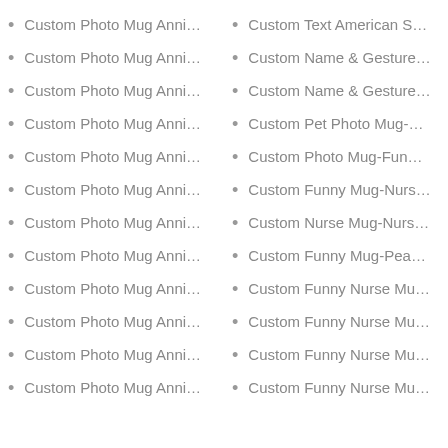Custom Photo Mug Anni…
Custom Photo Mug Anni…
Custom Photo Mug Anni…
Custom Photo Mug Anni…
Custom Photo Mug Anni…
Custom Photo Mug Anni…
Custom Photo Mug Anni…
Custom Photo Mug Anni…
Custom Photo Mug Anni…
Custom Photo Mug Anni…
Custom Photo Mug Anni…
Custom Photo Mug Anni…
Custom Text American S…
Custom Name & Gesture…
Custom Name & Gesture…
Custom Pet Photo Mug-…
Custom Photo Mug-Fun…
Custom Funny Mug-Nurs…
Custom Nurse Mug-Nurs…
Custom Funny Mug-Pea…
Custom Funny Nurse Mu…
Custom Funny Nurse Mu…
Custom Funny Nurse Mu…
Custom Funny Nurse Mu…